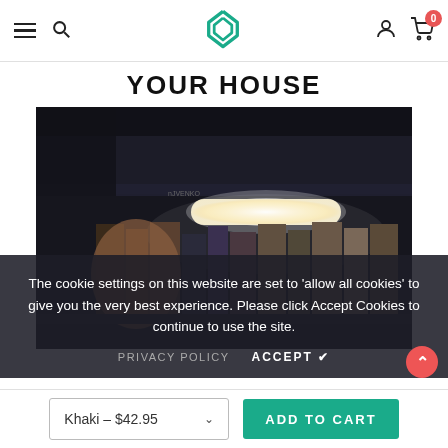Navigation bar with hamburger menu, search, logo, user icon, cart with badge 0
YOUR HOUSE
[Figure (photo): Dark photo of a glowing LED under-cabinet light bar attached to a bookshelf with books below it]
The cookie settings on this website are set to 'allow all cookies' to give you the very best experience. Please click Accept Cookies to continue to use the site.
PRIVACY POLICY   ACCEPT ✔
Khaki – $42.95  ADD TO CART